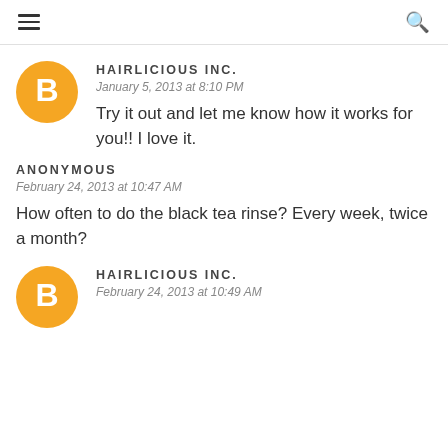≡  🔍
HAIRLICIOUS INC.
January 5, 2013 at 8:10 PM
Try it out and let me know how it works for you!! I love it.
Anonymous
February 24, 2013 at 10:47 AM
How often to do the black tea rinse? Every week, twice a month?
HAIRLICIOUS INC.
February 24, 2013 at 10:49 AM